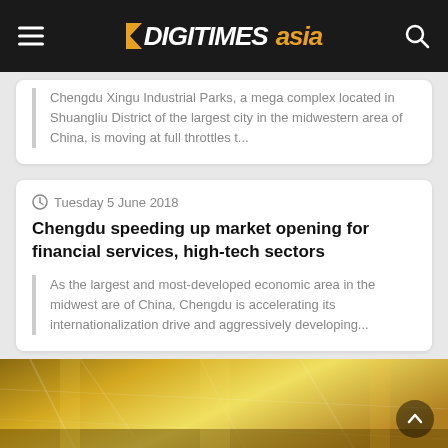DIGITIMES asia
Chengdu Xingu Industrial Parks, a mega complex located in Shuangliu District of the largest city in the midwestern area of China, is moving at full throttles t...
Tuesday 5 June 2018
Chengdu speeding up market opening for financial services, high-tech sectors
As the largest and most-developed economic area in the midwest are of China, Chengdu is accelerating its internationalization drive and aggressively developing...
[Figure (photo): Industrial/warehouse interior with golden yellow toned lighting]